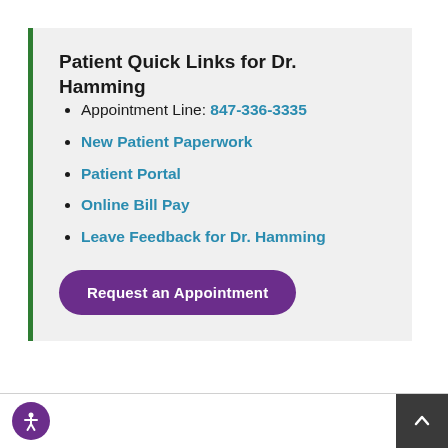Patient Quick Links for Dr. Hamming
Appointment Line: 847-336-3335
New Patient Paperwork
Patient Portal
Online Bill Pay
Leave Feedback for Dr. Hamming
Request an Appointment